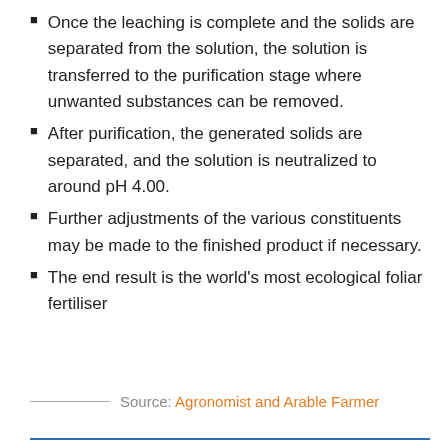Once the leaching is complete and the solids are separated from the solution, the solution is transferred to the purification stage where unwanted substances can be removed.
After purification, the generated solids are separated, and the solution is neutralized to around pH 4.00.
Further adjustments of the various constituents may be made to the finished product if necessary.
The end result is the world's most ecological foliar fertiliser
Source: Agronomist and Arable Farmer